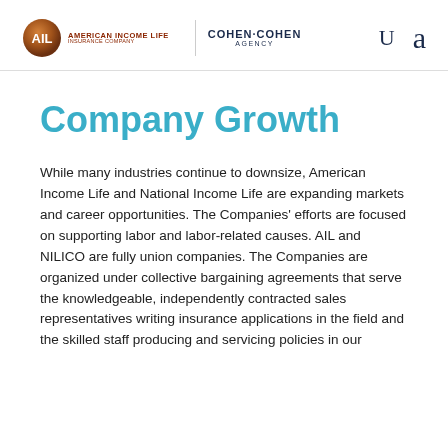[Figure (logo): American Income Life Insurance Company logo with AIL circular orange/brown emblem and Cohen-Cohen Agency text]
Company Growth
While many industries continue to downsize, American Income Life and National Income Life are expanding markets and career opportunities. The Companies' efforts are focused on supporting labor and labor-related causes. AIL and NILICO are fully union companies. The Companies are organized under collective bargaining agreements that serve the knowledgeable, independently contracted sales representatives writing insurance applications in the field and the skilled staff producing and servicing policies in our